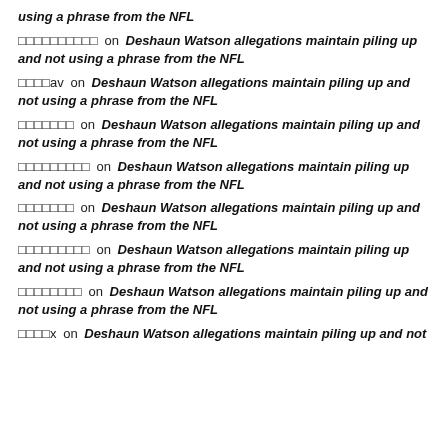using a phrase from the NFL
oooooooooo on Deshaun Watson allegations maintain piling up and not using a phrase from the NFL
ooooav on Deshaun Watson allegations maintain piling up and not using a phrase from the NFL
ooooooo on Deshaun Watson allegations maintain piling up and not using a phrase from the NFL
oooooooooo on Deshaun Watson allegations maintain piling up and not using a phrase from the NFL
ooooooo on Deshaun Watson allegations maintain piling up and not using a phrase from the NFL
oooooooooo on Deshaun Watson allegations maintain piling up and not using a phrase from the NFL
oooooooo on Deshaun Watson allegations maintain piling up and not using a phrase from the NFL
ooox on Deshaun Watson allegations maintain piling up and not